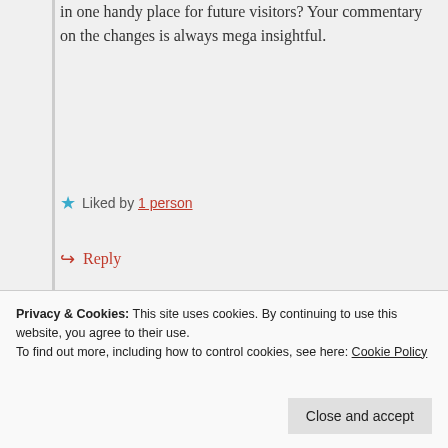in one handy place for future visitors? Your commentary on the changes is always mega insightful.
Liked by 1 person
Reply
Joe Cardello
August 23, 2021 at 3:04 pm
Privacy & Cookies: This site uses cookies. By continuing to use this website, you agree to their use. To find out more, including how to control cookies, see here: Cookie Policy
Close and accept
post will be covering my build of the